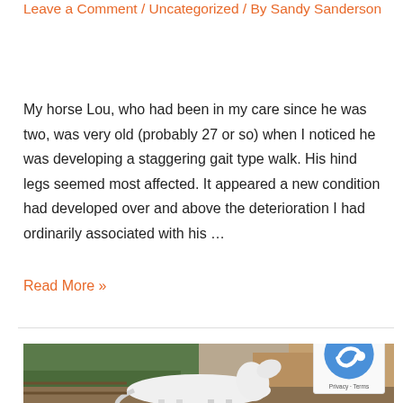Leave a Comment / Uncategorized / By Sandy Sanderson
My horse Lou, who had been in my care since he was two, was very old (probably 27 or so) when I noticed he was developing a staggering gait type walk. His hind legs seemed most affected. It appeared a new condition had developed over and above the deterioration I had ordinarily associated with his …
Read More »
[Figure (photo): A white horse standing in an outdoor enclosure with trees and a sandy/mud wall in the background.]